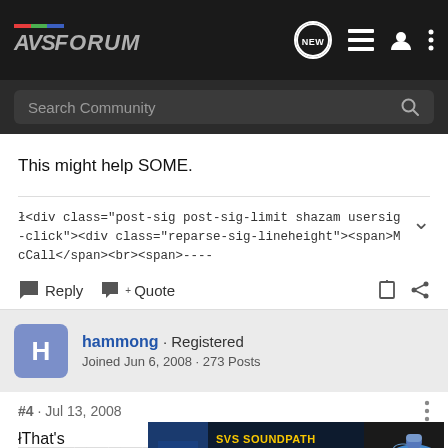AVS FORUM - Search Community
This might help SOME.
ï<div class="post-sig post-sig-limit shazam usersig-click"><div class="reparse-sig-lineheight"><span>McCall</span><br><span>----
Reply  Quote
hammong · Registered
Joined Jun 6, 2008 · 273 Posts
#4 · Jul 13, 2008
ïThat's ... against
[Figure (screenshot): SVS SoundPath Audio Accessories advertisement banner with logo, yellow text, and Learn More button]